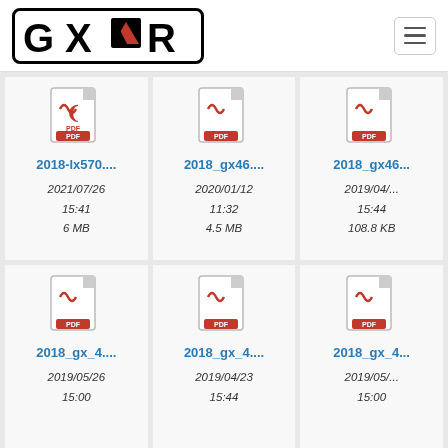[Figure (logo): GXOR logo in black bold text with mountain icon inside a rounded rectangle border]
[Figure (screenshot): File grid showing 6 PDF file cards with names, dates, times and file sizes. Row 1: 2018-lx570.... (2021/07/26 15:41 6MB), 2018_gx46... (2020/01/12 11:32 4.5MB), 2018_gx46... (2019/04/... 15:44 108.8KB). Row 2: 2018_gx_4... (2019/05/26 15:00), 2018_gx_4... (2019/04/23 15:44), 2018_gx_4... (2019/05/... 15:00)]